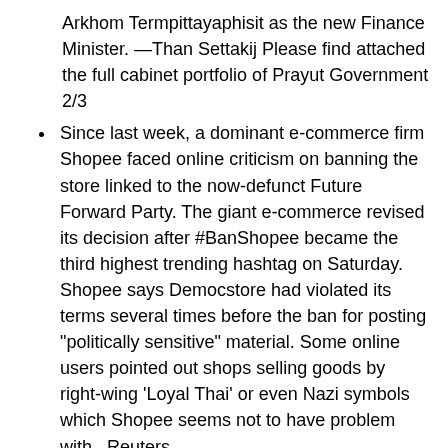Arkhom Termpittayaphisit as the new Finance Minister. —Than Settakij Please find attached the full cabinet portfolio of Prayut Government 2/3
Since last week, a dominant e-commerce firm Shopee faced online criticism on banning the store linked to the now-defunct Future Forward Party. The giant e-commerce revised its decision after #BanShopee became the third highest trending hashtag on Saturday. Shopee says Democstore had violated its terms several times before the ban for posting "politically sensitive" material. Some online users pointed out shops selling goods by right-wing 'Loyal Thai' or even Nazi symbols which Shopee seems not to have problem with.–Reuters
Last Friday, anti-government student-led group "Bad Student" toured schools which had reports on student abuses. Their final destination was at the Ministry of